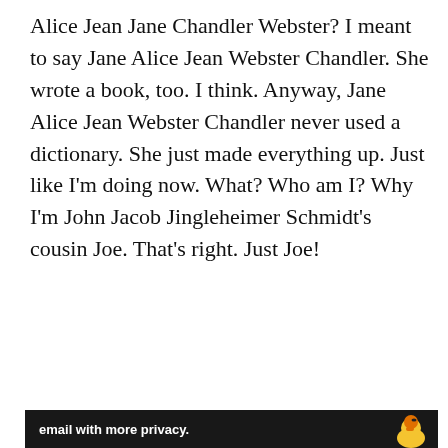Alice Jean Jane Chandler Webster? I meant to say Jane Alice Jean Webster Chandler. She wrote a book, too. I think. Anyway, Jane Alice Jean Webster Chandler never used a dictionary. She just made everything up. Just like I'm doing now. What? Who am I? Why I'm John Jacob Jingleheimer Schmidt's cousin Joe. That's right. Just Joe!
Advertisements
[Figure (infographic): WordPress.com advertisement banner: 'Simplified pricing for everything you need.' with WordPress.com logo on gradient blue-purple background]
REPORT THIS AD
by John Patrick Timothy Seekamp  2015  (but you can call
Privacy & Cookies: This site uses cookies. By continuing to use this website, you agree to their use.
To find out more, including how to control cookies, see here: Cookie Policy
Close and accept
[Figure (infographic): Bottom advertisement strip with white text on dark background: 'email with more privacy.' and a duck logo on the right]